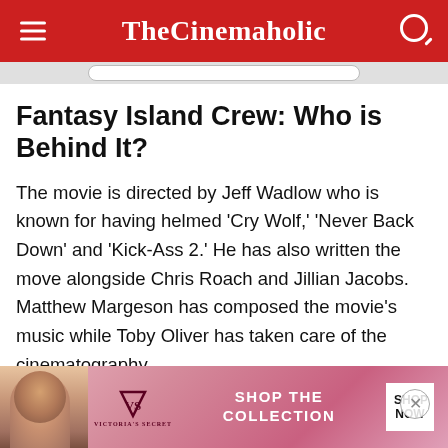TheCinemaholic
Fantasy Island Crew: Who is Behind It?
The movie is directed by Jeff Wadlow who is known for having helmed ‘Cry Wolf,’ ‘Never Back Down’ and ‘Kick-Ass 2.’ He has also written the move alongside Chris Roach and Jillian Jacobs. Matthew Margeson has composed the movie’s music while Toby Oliver has taken care of the cinematography. Sean Albertson has also been taken care of
[Figure (advertisement): Victoria's Secret advertisement banner with model, VS logo, SHOP THE COLLECTION text, and SHOP NOW button]